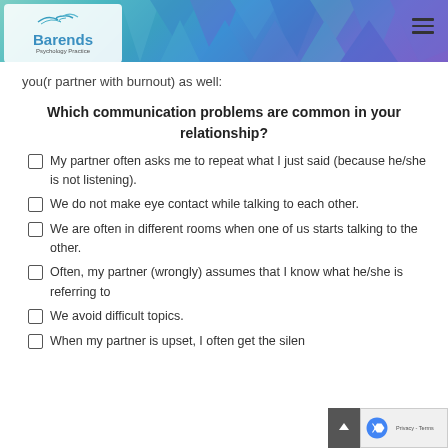Barends Psychology Practice
you(r partner with burnout) as well:
Which communication problems are common in your relationship?
My partner often asks me to repeat what I just said (because he/she is not listening).
We do not make eye contact while talking to each other.
We are often in different rooms when one of us starts talking to the other.
Often, my partner (wrongly) assumes that I know what he/she is referring to
We avoid difficult topics.
When my partner is upset, I often get the silen…